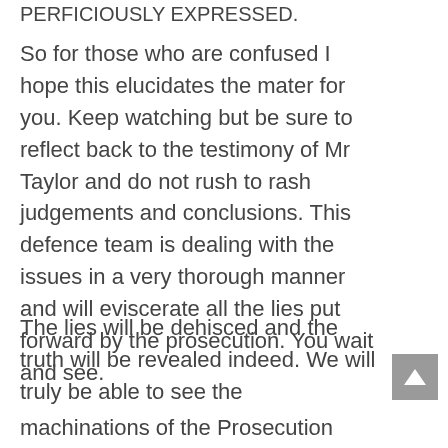PERFICIOUSLY EXPRESSED.
So for those who are confused I hope this elucidates the mater for you. Keep watching but be sure to reflect back to the testimony of Mr Taylor and do not rush to rash judgements and conclusions. This defence team is dealing with the issues in a very thorough manner and will eviscerate all the lies put forward by the prosecution. You wait and see.
The lies will be dehisced and the truth will be revealed indeed. We will truly be able to see the machinations of the Prosecution